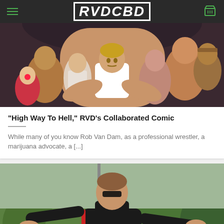RVDCBD
[Figure (illustration): Comic book style illustration of muscular wrestlers/fighters group posed together, with one central figure in white tank top]
"High Way To Hell," RVD's Collaborated Comic
While many of you know Rob Van Dam, as a professional wrestler, a marijuana advocate, a [...]
[Figure (photo): Photo of Rob Van Dam outdoors with arms spread wide, wearing black tracksuit with red accents, trees in background]